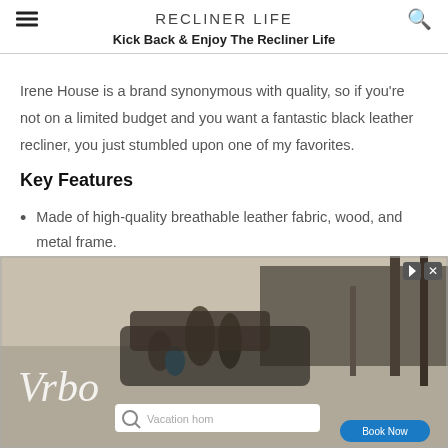RECLINER LIFE
Kick Back & Enjoy The Recliner Life
Irene House is a brand synonymous with quality, so if you're not on a limited budget and you want a fantastic black leather recliner, you just stumbled upon one of my favorites.
Key Features
Made of high-quality breathable leather fabric, wood, and metal frame.
[Figure (photo): Advertisement banner showing people loading a car with vacation items, with a search bar reading 'Vacation hom' and a 'Book Now' button on blue oval, and Vrbo logo text overlay.]